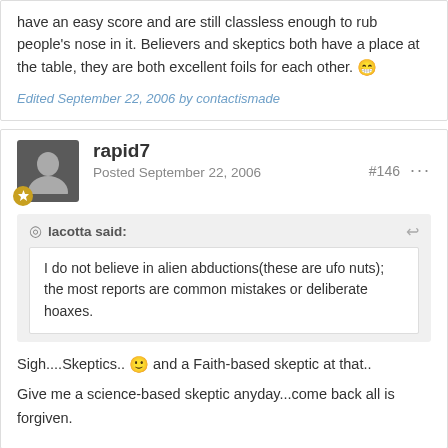have an easy score and are still classless enough to rub people's nose in it. Believers and skeptics both have a place at the table, they are both excellent foils for each other. 😁
Edited September 22, 2006 by contactismade
rapid7
Posted September 22, 2006
#146
lacotta said:
I do not believe in alien abductions(these are ufo nuts); the most reports are common mistakes or deliberate hoaxes.
Sigh....Skeptics.. 🙂 and a Faith-based skeptic at that..
Give me a science-based skeptic anyday...come back all is forgiven.